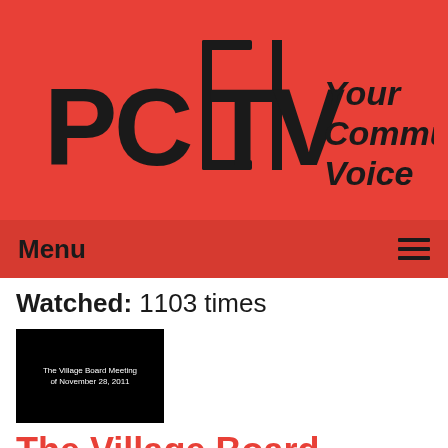[Figure (logo): PCTV logo with text 'Your Community Voice' on red background]
Menu ≡
Watched: 1103 times
[Figure (screenshot): Black video thumbnail with text 'The Village Board Meeting of November 28, 2011']
The Village Board Meeting of 11-28-11
Airdate: 11/28/2011
Guests: Students receiving